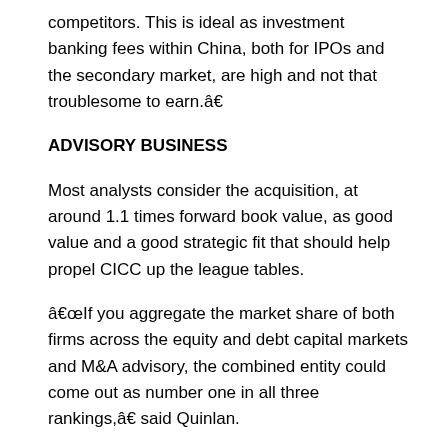competitors. This is ideal as investment banking fees within China, both for IPOs and the secondary market, are high and not that troublesome to earn.â€
ADVISORY BUSINESS
Most analysts consider the acquisition, at around 1.1 times forward book value, as good value and a good strategic fit that should help propel CICC up the league tables.
â€If you aggregate the market share of both firms across the equity and debt capital markets and M&A advisory, the combined entity could come out as number one in all three rankings,â€ said Quinlan.
â€This might not be the case, but we expect CICC to be at least a top-five player in ECM and DCM, following the acquisition, and most probably top three for M&A advisory.â€